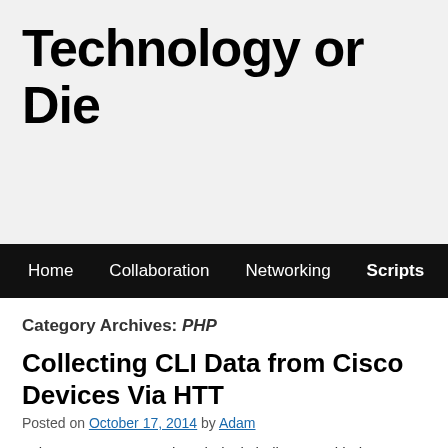Technology or Die
Home  Collaboration  Networking  Scripts  YouTube Channel
Category Archives: PHP
Collecting CLI Data from Cisco Devices Via HTT
Posted on October 17, 2014 by Adam
I always try to approach technical challenges with the thought that "just because som Sure enough I had a problem like this cross my desk again the other day.   I wanted a handful of MGCP PRI gateway routers.  Unfortunately I couldn't find a single SNM had an HTTP interface so I started checking around to see how easy it would be to